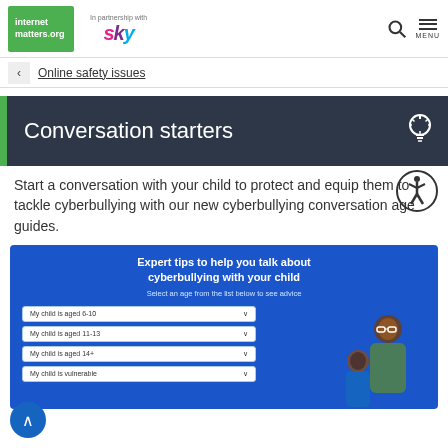internet matters.org | In partnership with sky | Search | MENU
Online safety issues
Conversation starters
Start a conversation with your child to protect and equip them to tackle cyberbullying with our new cyberbullying conversation age guides.
[Figure (screenshot): Blue promotional card: Expert tips to help you talk about cyberbullying with your child. Select an age from the list below to see advice. Dropdown options: My child is aged 6-10, My child is aged 11-13, My child is aged 14+, My child is vulnerable. Illustrated figures of adults/children on the right.]